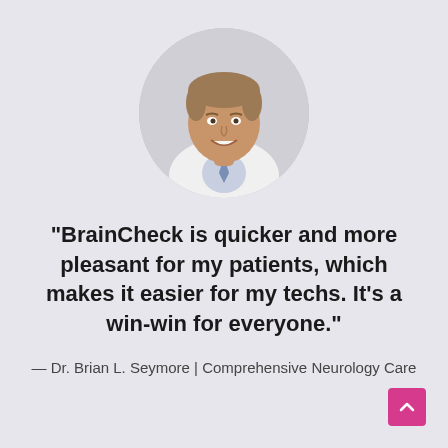[Figure (photo): Circular portrait photo of Dr. Brian L. Seymore, a man in a white lab coat and tie, smiling against a light gray background.]
"BrainCheck is quicker and more pleasant for my patients, which makes it easier for my techs. It's a win-win for everyone."
— Dr. Brian L. Seymore | Comprehensive Neurology Care